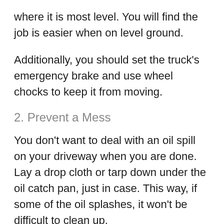where it is most level. You will find the job is easier when on level ground.
Additionally, you should set the truck's emergency brake and use wheel chocks to keep it from moving.
2. Prevent a Mess
You don't want to deal with an oil spill on your driveway when you are done. Lay a drop cloth or tarp down under the oil catch pan, just in case. This way, if some of the oil splashes, it won't be difficult to clean up.